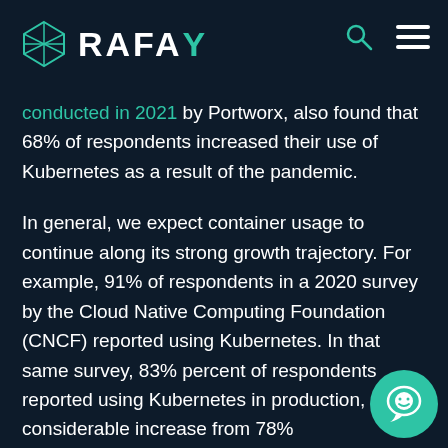RAFAY
conducted in 2021 by Portworx, also found that 68% of respondents increased their use of Kubernetes as a result of the pandemic.
In general, we expect container usage to continue along its strong growth trajectory. For example, 91% of respondents in a 2020 survey by the Cloud Native Computing Foundation (CNCF) reported using Kubernetes. In that same survey, 83% percent of respondents reported using Kubernetes in production, a considerable increase from 78%